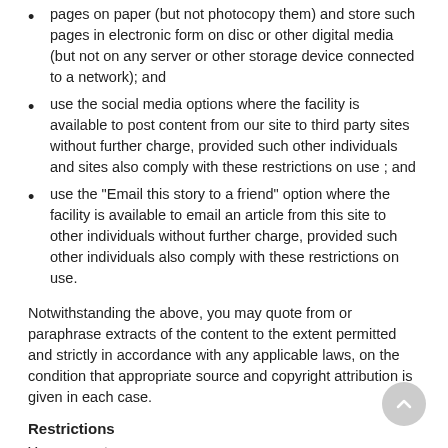pages on paper (but not photocopy them) and store such pages in electronic form on disc or other digital media (but not on any server or other storage device connected to a network); and
use the social media options where the facility is available to post content from our site to third party sites without further charge, provided such other individuals and sites also comply with these restrictions on use ; and
use the "Email this story to a friend" option where the facility is available to email an article from this site to other individuals without further charge, provided such other individuals also comply with these restrictions on use.
Notwithstanding the above, you may quote from or paraphrase extracts of the content to the extent permitted and strictly in accordance with any applicable laws, on the condition that appropriate source and copyright attribution is given in each case.
Restrictions
You may not: